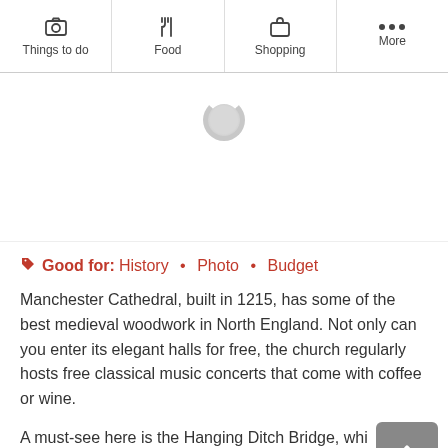Things to do | Food | Shopping | More
[Figure (screenshot): Loading spinner / blank image area with a circular loading indicator]
Good for: History • Photo • Budget
Manchester Cathedral, built in 1215, has some of the best medieval woodwork in North England. Not only can you enter its elegant halls for free, the church regularly hosts free classical music concerts that come with coffee or wine.
A must-see here is the Hanging Ditch Bridge, which dates back to the 14th century and is the oldest